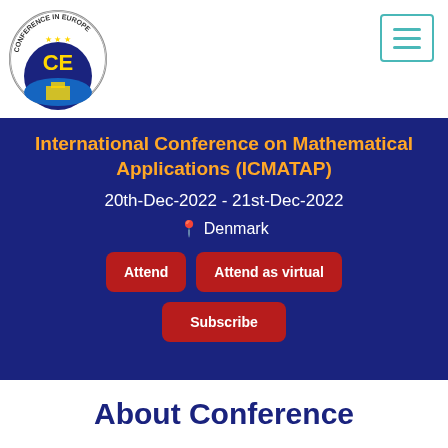[Figure (logo): Conference in Europe circular logo with star pattern and 'CE' letters]
[Figure (other): Hamburger menu icon with three horizontal lines in teal border box]
International Conference on Mathematical Applications (ICMATAP)
20th-Dec-2022 - 21st-Dec-2022
📍 Denmark
Attend
Attend as virtual
Subscribe
About Conference